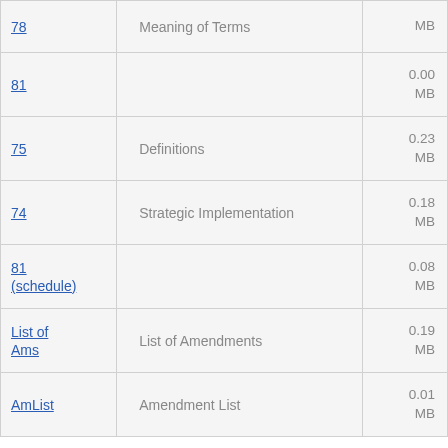| Page | Title | Size |
| --- | --- | --- |
| 78 | Meaning of Terms | MB |
| 81 |  | 0.00 MB |
| 75 | Definitions | 0.23 MB |
| 74 | Strategic Implementation | 0.18 MB |
| 81 (schedule) |  | 0.08 MB |
| List of Ams | List of Amendments | 0.19 MB |
| AmList | Amendment List | 0.01 MB |